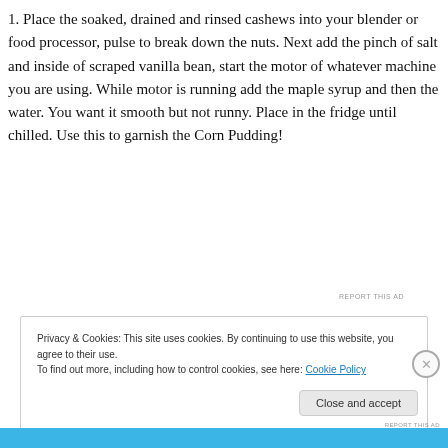1. Place the soaked, drained and rinsed cashews into your blender or food processor, pulse to break down the nuts. Next add the pinch of salt and inside of scraped vanilla bean, start the motor of whatever machine you are using. While motor is running add the maple syrup and then the water. You want it smooth but not runny. Place in the fridge until chilled. Use this to garnish the Corn Pudding!
[Figure (other): Dark advertisement banner: icon of a person meditating, text 'Turn your blog into a money-making online course.' with arrow]
REPORT THIS AD
Privacy & Cookies: This site uses cookies. By continuing to use this website, you agree to their use.
To find out more, including how to control cookies, see here: Cookie Policy
Close and accept